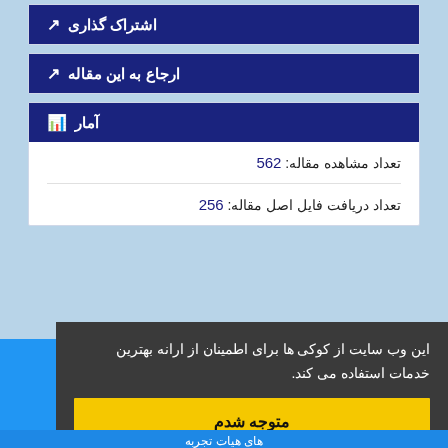اشتراک گذاری
ارجاع به این مقاله
آمار
تعداد مشاهده مقاله: 562
تعداد دریافت فایل اصل مقاله: 256
این وب سایت از کوکی ها برای اطمینان از ارانه بهترین خدمات استفاده می کند.
متوجه شدم